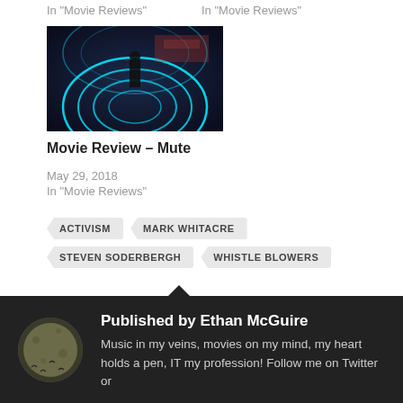In "Movie Reviews"
In "Movie Reviews"
[Figure (photo): Movie still from Mute: neon blue geometric arch shapes in a dark futuristic scene with a silhouetted figure]
Movie Review – Mute
May 29, 2018
In "Movie Reviews"
ACTIVISM
MARK WHITACRE
STEVEN SODERBERGH
WHISTLE BLOWERS
Published by Ethan McGuire
Music in my veins, movies on my mind, my heart holds a pen, IT my profession! Follow me on Twitter or